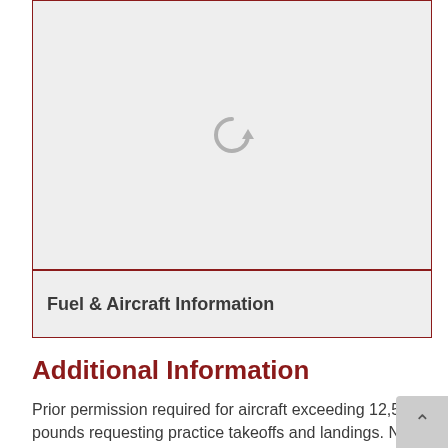[Figure (other): Loading placeholder with a grey reload/refresh icon on a light grey background, bordered in dark red]
Fuel & Aircraft Information
Additional Information
Prior permission required for aircraft exceeding 12,500 pounds requesting practice takeoffs and landings. No practice approaches or practice takeoffs and landings permitted between the